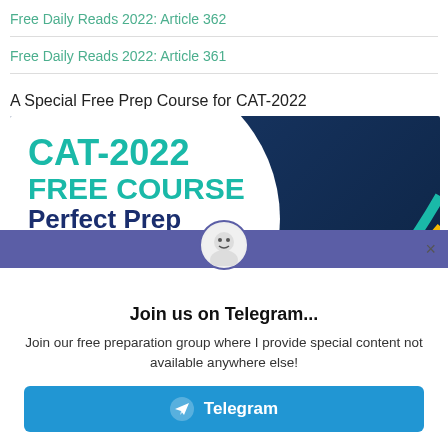Free Daily Reads 2022: Article 362
Free Daily Reads 2022: Article 361
A Special Free Prep Course for CAT-2022
[Figure (illustration): CAT-2022 Free Course Perfect Prep promotional banner with teal text on white circle against dark navy background with decorative dots and lines]
Join us on Telegram...
Join our free preparation group where I provide special content not available anywhere else!
Telegram